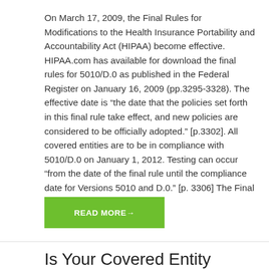On March 17, 2009, the Final Rules for Modifications to the Health Insurance Portability and Accountability Act (HIPAA) become effective. HIPAA.com has available for download the final rules for 5010/D.0 as published in the Federal Register on January 16, 2009 (pp.3295-3328). The effective date is “the date that the policies set forth in this final rule take effect, and new policies are considered to be officially adopted.” [p.3302]. All covered entities are to be in compliance with 5010/D.0 on January 1, 2012. Testing can occur “from the date of the final rule until the compliance date for Versions 5010 and D.0.” [p. 3306] The Final Rules outline two levels of…
READ MORE→
Is Your Covered Entity Preparing